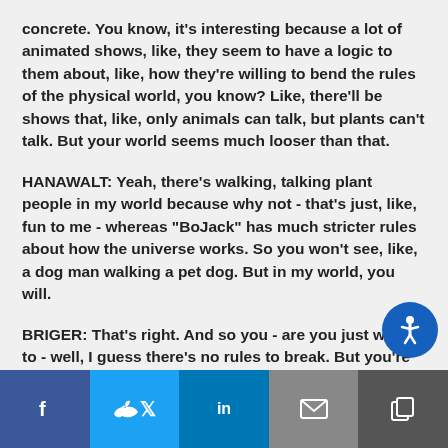concrete. You know, it's interesting because a lot of animated shows, like, they seem to have a logic to them about, like, how they're willing to bend the rules of the physical world, you know? Like, there'll be shows that, like, only animals can talk, but plants can't talk. But your world seems much looser than that.
HANAWALT: Yeah, there's walking, talking plant people in my world because why not - that's just, like, fun to me - whereas "BoJack" has much stricter rules about how the universe works. So you won't see, like, a dog man walking a pet dog. But in my world, you will.
BRIGER: That's right. And so you - are you just willing to - well, I guess there's no rules to break. But you're just willing to do whatever it takes to tell the s...
[Figure (other): Social share bar with Facebook, Twitter, LinkedIn, Email, and copy buttons, plus an accessibility icon button (blue circle with person figure)]